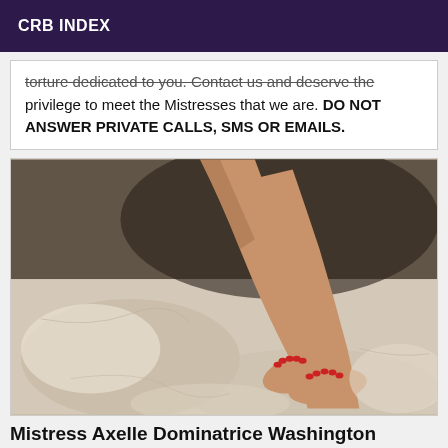CRB INDEX
torture dedicated to you. Contact us and deserve the privilege to meet the Mistresses that we are. DO NOT ANSWER PRIVATE CALLS, SMS OR EMAILS.
[Figure (photo): Close-up photo of a woman's legs and feet with red nail polish, resting on white crumpled fabric/sheets, with dramatic lighting.]
Mistress Axelle Dominatrice Washington